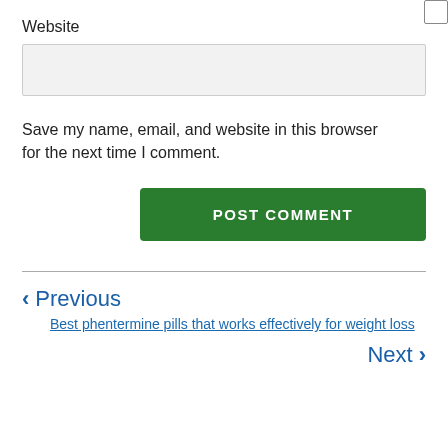Website
Save my name, email, and website in this browser for the next time I comment.
POST COMMENT
< Previous
Best phentermine pills that works effectively for weight loss
Next >